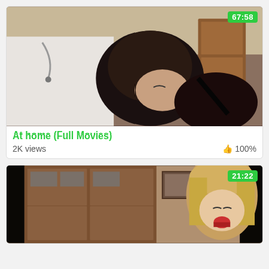[Figure (screenshot): Video thumbnail showing a dark-haired woman in a medical/bedroom scene with a person in white coat, duration 67:58]
At home (Full Movies)
2K views   👍 100%
[Figure (screenshot): Video thumbnail showing a woman with long hair in a room with wooden closet, duration 21:22]